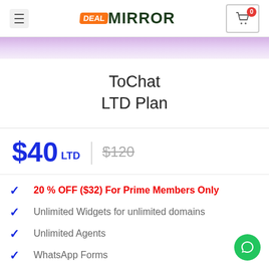DEAL MIRROR — navigation header with hamburger menu and cart
ToChat LTD Plan
$40 LTD | $120 (strikethrough)
20 % OFF ($32) For Prime Members Only
Unlimited Widgets for unlimited domains
Unlimited Agents
WhatsApp Forms
WhatsApp Bookings